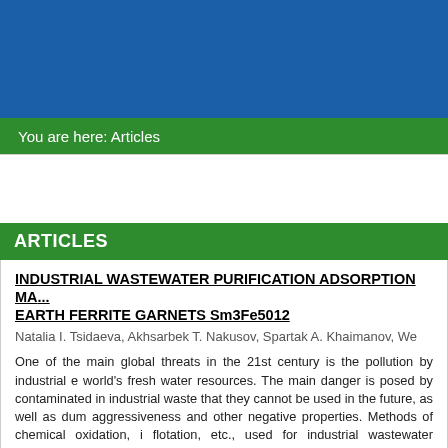You are here: Articles
ARTICLES
INDUSTRIAL WASTEWATER PURIFICATION ADSORPTION MA... EARTH FERRITE GARNETS Sm3Fe5012
Natalia I. Tsidaeva, Akhsarbek T. Nakusov, Spartak A. Khaimanov, We...
One of the main global threats in the 21st century is the pollution by industrial ... world's fresh water resources. The main danger is posed by contaminated in... industrial waste that they cannot be used in the future, as well as dum... aggressiveness and other negative properties. Methods of chemical oxidation, i... flotation, etc., used for industrial wastewater treatment, are ineffective, i.e. clea... purpose of the work is to development of new materials with high adsorption... optimal synthesis parameters for creating filters for industrial wastewater treatm...